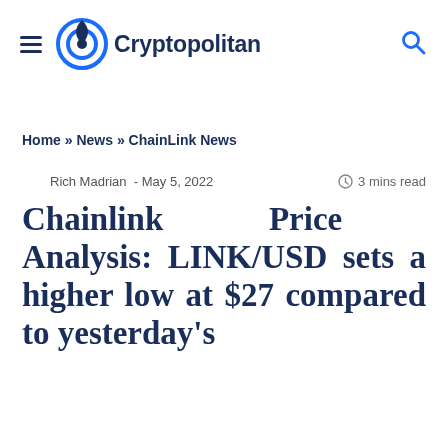Cryptopolitan
Home » News » ChainLink News
Rich Madrian - May 5, 2022   3 mins read
Chainlink Price Analysis: LINK/USD sets a higher low at $27 compared to yesterday's